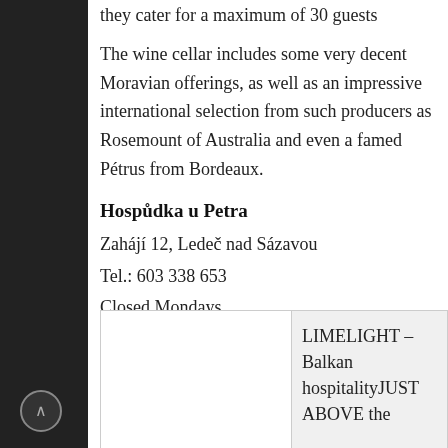they cater for a maximum of 30 guests
The wine cellar includes some very decent Moravian offerings, as well as an impressive international selection from such producers as Rosemount of Australia and even a famed Pétrus from Bordeaux.
Hospůdka u Petra
Zahájí 12, Ledeč nad Sázavou
Tel.: 603 338 653
Closed Mondays.
[Figure (other): Bottom panel split into two sections: left white area and right grey area with text 'LIMELIGHT – Balkan hospitalityJUST ABOVE the']